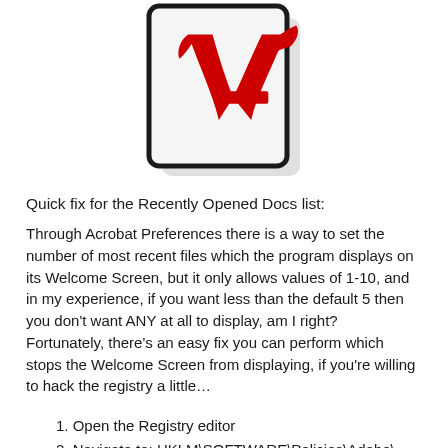[Figure (logo): Adobe Acrobat application icon — red stylized 'A' logo on a white document with rounded black border, document shadow visible]
Quick fix for the Recently Opened Docs list:
Through Acrobat Preferences there is a way to set the number of most recent files which the program displays on its Welcome Screen, but it only allows values of 1-10, and in my experience, if you want less than the default 5 then you don't want ANY at all to display, am I right?  Fortunately, there's an easy fix you can perform which stops the Welcome Screen from displaying, if you're willing to hack the registry a little…
1. Open the Registry editor
2. Navigate to: HKLM\SOFTWARE\Policies\Adobe\(product name)\(version)\FeatureLockDown\